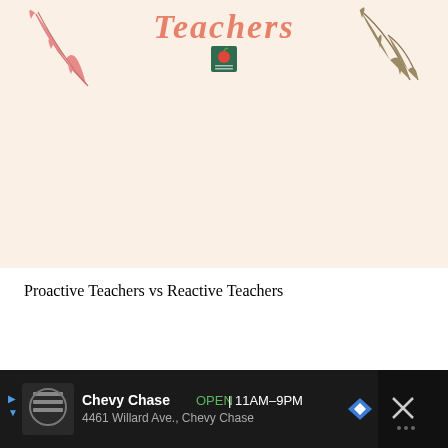[Figure (illustration): Decorative banner/header image with cursive title 'Teachers' in coral/salmon color, an apple/teacher logo icon in the center below, and botanical leaf decorations in pink (top-left) and olive/brown (top-right) on a warm cream background.]
Proactive Teachers vs Reactive Teachers
[Figure (infographic): Advertisement bar: Chevy Chase business listing showing store icon, business name 'Chevy Chase', open status 'OPEN | 11AM-9PM', address '4461 Willard Ave., Chevy Chase', navigation arrow icon, and close button with X icon.]